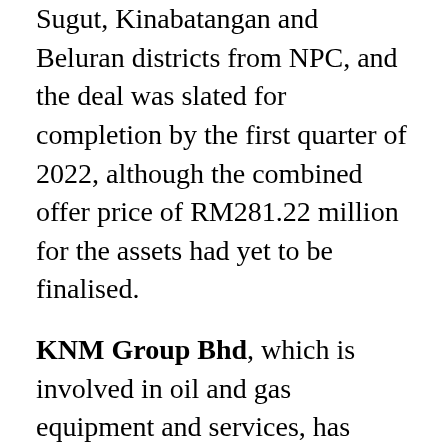Sugut, Kinabatangan and Beluran districts from NPC, and the deal was slated for completion by the first quarter of 2022, although the combined offer price of RM281.22 million for the assets had yet to be finalised.
KNM Group Bhd, which is involved in oil and gas equipment and services, has secured a contract worth RM13.4 million to build a pre-fabrication tank for a combined cycle power generating facility of up to 1,200MW at Pulau Indah, Selangor. KNM said the contract was awarded by PEC Powercon Sdn Bhd to its wholly-owned unit KNM Process Systems Sdn Bhd, which is expected to deliver the